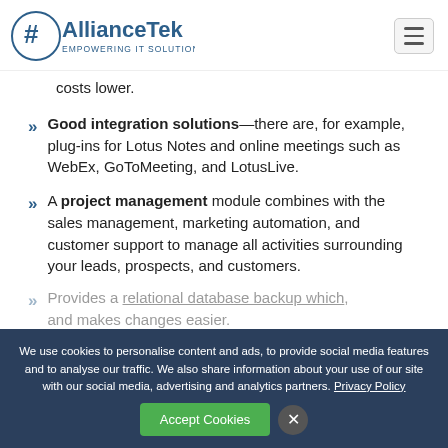AllianceTek — Empowering IT Solutions
costs lower.
Good integration solutions—there are, for example, plug-ins for Lotus Notes and online meetings such as WebEx, GoToMeeting, and LotusLive.
A project management module combines with the sales management, marketing automation, and customer support to manage all activities surrounding your leads, prospects, and customers.
Provides a relational database backup which… and makes changes easier.
We use cookies to personalise content and ads, to provide social media features and to analyse our traffic. We also share information about your use of our site with our social media, advertising and analytics partners. Privacy Policy
Accept Cookies